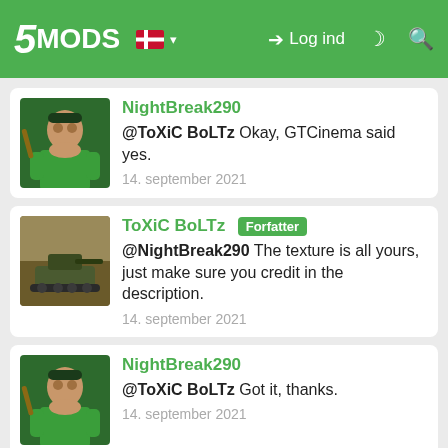5MODS | Log ind
NightBreak290
@ToXiC BoLTz Okay, GTCinema said yes.
14. september 2021
ToXiC BoLTz [Forfatter]
@NightBreak290 The texture is all yours, just make sure you credit in the description.
14. september 2021
NightBreak290
@ToXiC BoLTz Got it, thanks.
14. september 2021
Deltag i samtalen! Log Ind eller registrere for at kunne kommentere.